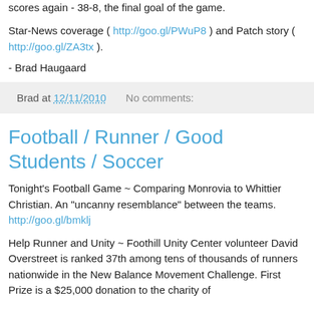scores again - 38-8, the final goal of the game.
Star-News coverage ( http://goo.gl/PWuP8 ) and Patch story ( http://goo.gl/ZA3tx ).
- Brad Haugaard
Brad at 12/11/2010    No comments:
Football / Runner / Good Students / Soccer
Tonight's Football Game ~ Comparing Monrovia to Whittier Christian.  An "uncanny resemblance" between the teams. http://goo.gl/bmklj
Help Runner and Unity ~ Foothill Unity Center volunteer David Overstreet is ranked 37th among tens of thousands of runners nationwide in the New Balance Movement Challenge. First Prize is a $25,000 donation to the charity of